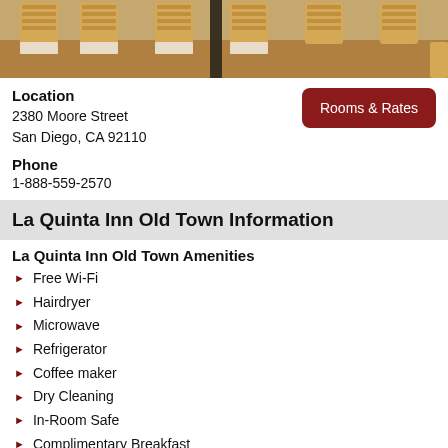[Figure (photo): Photo of wooden chairs and tables in a dining area, light wood furniture with patterned cushions]
Location
2380 Moore Street
San Diego, CA 92110
Rooms & Rates
Phone
1-888-559-2570
La Quinta Inn Old Town Information
La Quinta Inn Old Town Amenities
Free Wi-Fi
Hairdryer
Microwave
Refrigerator
Coffee maker
Dry Cleaning
In-Room Safe
Complimentary Breakfast
Swimming Pool
Hot Tub
Shuttle Service
Business Center